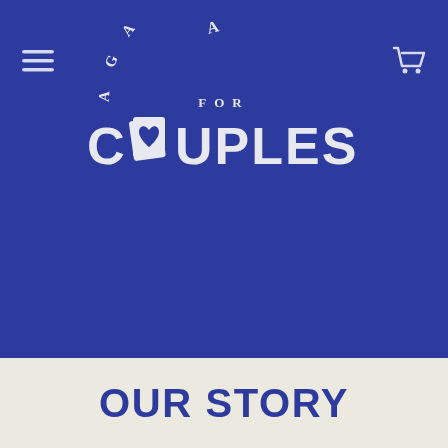[Figure (logo): A Game for Couples logo — white text on dark blue background with playing card icons. Top arc reads 'A GAME FOR', bottom reads 'COUPLES' with a heart card replacing the 'O'.]
OUR STORY